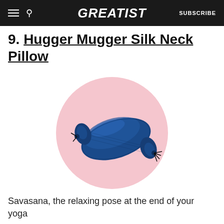GREATIST | SUBSCRIBE
9. Hugger Mugger Silk Neck Pillow
[Figure (photo): A blue silk neck pillow (bolster style) with drawstring ties at both ends, displayed on a pink circular background]
Savasana, the relaxing pose at the end of your yoga